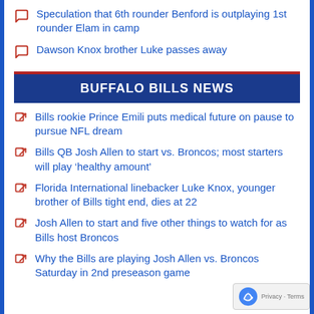Speculation that 6th rounder Benford is outplaying 1st rounder Elam in camp
Dawson Knox brother Luke passes away
BUFFALO BILLS NEWS
Bills rookie Prince Emili puts medical future on pause to pursue NFL dream
Bills QB Josh Allen to start vs. Broncos; most starters will play ‘healthy amount’
Florida International linebacker Luke Knox, younger brother of Bills tight end, dies at 22
Josh Allen to start and five other things to watch for as Bills host Broncos
Why the Bills are playing Josh Allen vs. Broncos Saturday in 2nd preseason game